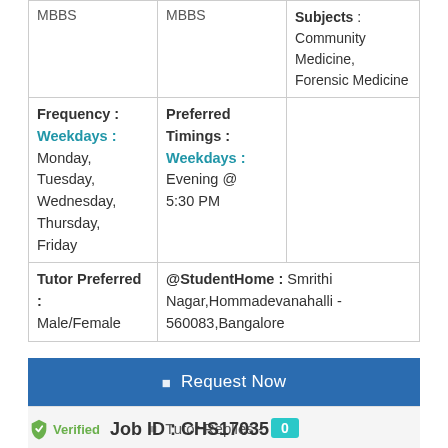| MBBS | MBBS | Subjects : Community Medicine, Forensic Medicine |
| Frequency : Weekdays : Monday, Tuesday, Wednesday, Thursday, Friday | Preferred Timings : Weekdays : Evening @ 5:30 PM |  |
| Tutor Preferred : Male/Female | @StudentHome : Smrithi Nagar,Hommadevanahalli - 560083,Bangalore |  |
Request Now
Tutor Replies - 0
Verified Job ID : CHS17035